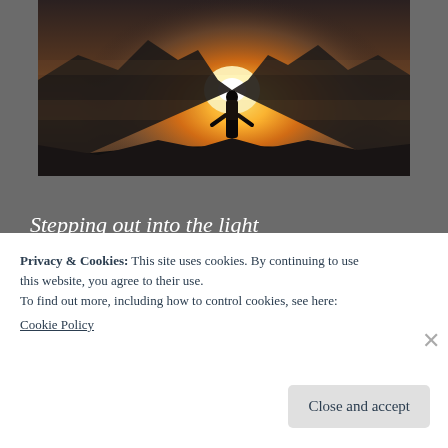[Figure (photo): A person standing on a rocky mountain summit silhouetted against a brilliant golden sunrise or sunset, with mountain ridges visible in the background]
Stepping out into the light
My eyes can't adjust to the sunshine
Night left me with nary a sleep
Stumblin' home to all that's still mine
Privacy & Cookies: This site uses cookies. By continuing to use this website, you agree to their use.
To find out more, including how to control cookies, see here:
Cookie Policy
Close and accept